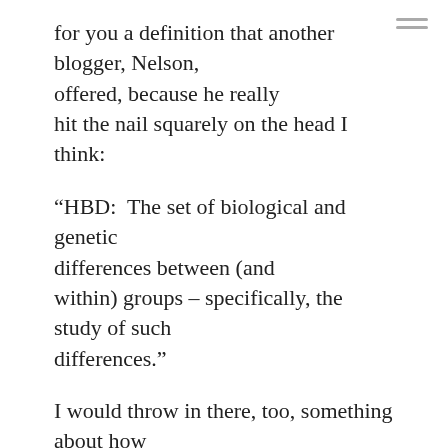for you a definition that another blogger, Nelson, offered, because he really hit the nail squarely on the head I think:
“HBD:  The set of biological and genetic differences between (and within) groups – specifically, the study of such differences.”
I would throw in there, too, something about how these differences are the result of evolutionary processes. Also, that "groups" refers to all sorts of populations:  men and women, different races, different ethnic groups – even subgroups within these larger groups, which a lot of